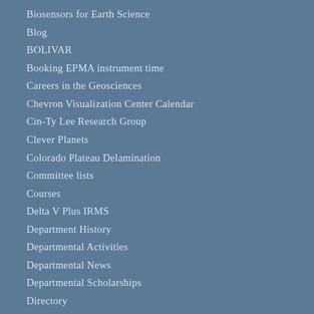Biosensors for Earth Science
Blog
BOLIVAR
Booking EPMA instrument time
Careers in the Geosciences
Chevron Visualization Center Calendar
Cin-Ty Lee Research Group
Clever Planets
Colorado Plateau Delamination
Committee lists
Courses
Delta V Plus IRMS
Department History
Departmental Activities
Departmental News
Departmental Scholarships
Directory